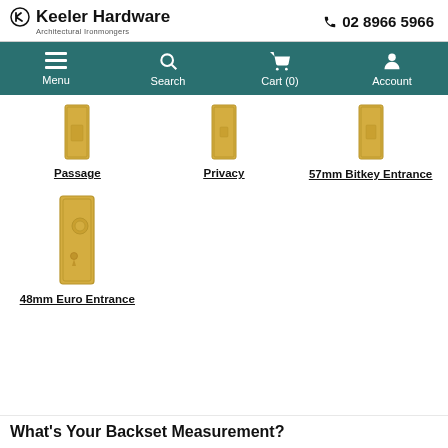Keeler Hardware Architectural Ironmongers | 02 8966 5966
[Figure (screenshot): Navigation bar with Menu, Search, Cart (0), Account icons on teal background]
[Figure (photo): Passage door knob backplate in brass/gold finish]
Passage
[Figure (photo): Privacy door knob backplate in brass/gold finish]
Privacy
[Figure (photo): 57mm Bitkey Entrance door knob backplate in brass/gold finish]
57mm Bitkey Entrance
[Figure (photo): 48mm Euro Entrance door knob backplate with keyhole in brass/gold finish]
48mm Euro Entrance
What's Your Backset Measurement?